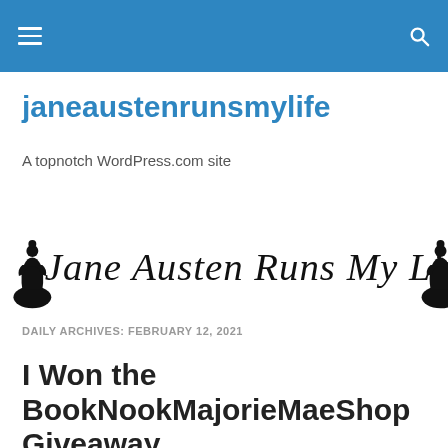janeaustenrunsmylife — navigation header with hamburger menu and search icon
janeaustenrunsmylife
A topnotch WordPress.com site
[Figure (logo): Jane Austen Runs My Life cursive logo with silhouette figures on each side]
DAILY ARCHIVES: FEBRUARY 12, 2021
I Won the BookNookMajorieMaeShop Giveaway